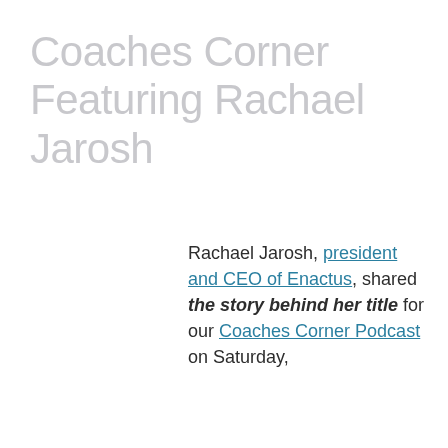Coaches Corner Featuring Rachael Jarosh
Rachael Jarosh, president and CEO of Enactus, shared the story behind her title for our Coaches Corner Podcast on Saturday,